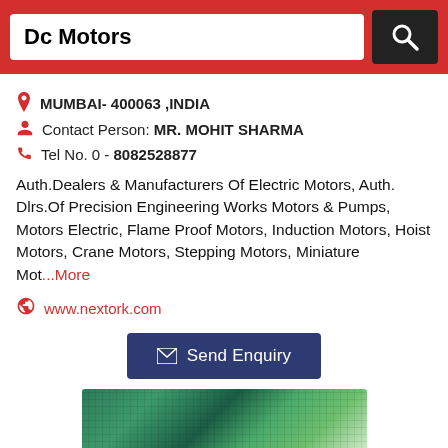Dc Motors
MUMBAI- 400063 ,INDIA
Contact Person: MR. MOHIT SHARMA
Tel No. 0 - 8082528877
Auth.Dealers & Manufacturers Of Electric Motors, Auth. Dlrs.Of Precision Engineering Works Motors & Pumps, Motors Electric, Flame Proof Motors, Induction Motors, Hoist Motors, Crane Motors, Stepping Motors, Miniature Mot...More
www.nextork.com
Send Enquiry
[Figure (photo): Product image showing green textured/ribbed material sheets stacked together]